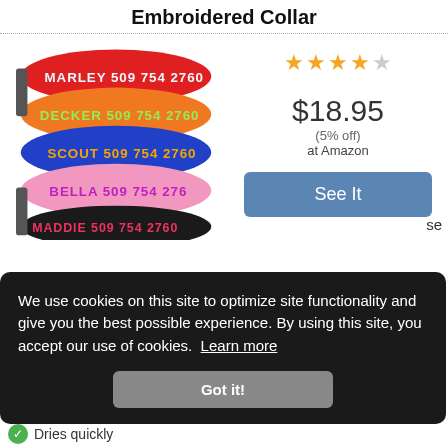Embroidered Collar
[Figure (photo): Stack of five embroidered dog collars in red, orange, blue, pink, and black colors, each showing a pet name and phone number: MARLEY 509 754 2760, DECKER 509 754 2760, SCOUT 509 754 2760, BELLA 509 754 276, MADDIE 509 754 2760]
★★★★☆
$18.95
(5% off)
at Amazon
See It
We use cookies on this site to optimize site functionality and give you the best possible experience. By using this site, you accept our use of cookies. Learn more
Got it!
Dries quickly